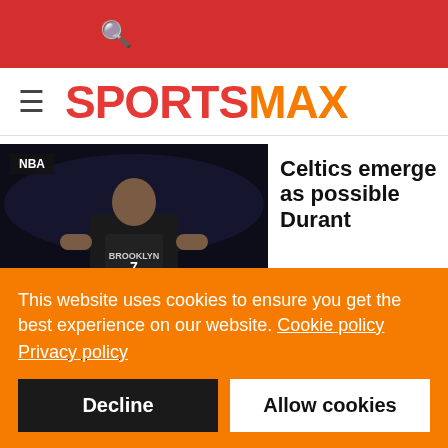SportsMax
[Figure (photo): NBA player in Brooklyn Nets jersey standing on a dark arena court]
Celtics emerge as possible Durant
This website uses cookies to ensure you get the best experience on our website. Cookie policy Privacy policy